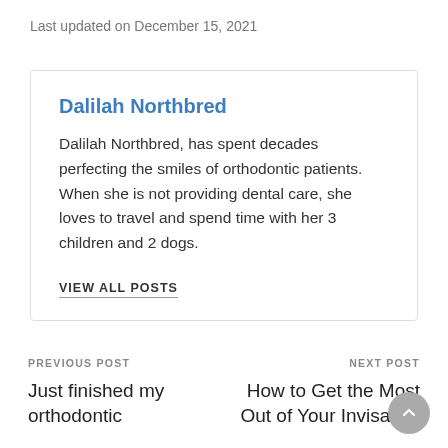Last updated on December 15, 2021
Dalilah Northbred
Dalilah Northbred, has spent decades perfecting the smiles of orthodontic patients. When she is not providing dental care, she loves to travel and spend time with her 3 children and 2 dogs.
VIEW ALL POSTS
PREVIOUS POST
Just finished my orthodontic
NEXT POST
How to Get the Most Out of Your Invisalign